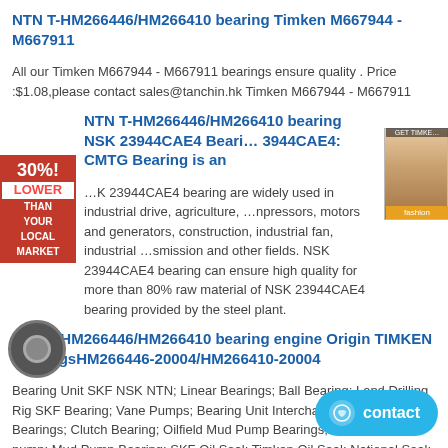NTN T-HM266446/HM266410 bearing Timken M667944 - M667911
All our Timken M667944 - M667911 bearings ensure quality . Price :$1.08,please contact sales@tanchin.hk Timken M667944 - M667911
NTN T-HM266446/HM266410 bearing NSK 23944CAE4 Bearing 23944CAE4: CMTG Bearing is an
NSK 23944CAE4 bearing are widely used in industrial drive, agriculture, compressors, motors and generators, construction, industrial fan, industrial transmission and other fields. NSK 23944CAE4 bearing can ensure high quality for more than 80% raw material of NSK 23944CAE4 bearing provided by the steel plant.
NTN T-HM266446/HM266410 bearing engine Origin TIMKEN BearingsHM266446-20004/HM266410-20004
Bearing Unit SKF NSK NTN; Linear Bearings; Ball Bearing; Land Drilling Rig SKF Bearing; Vane Pumps; Bearing Unit Interchange; High Precision Bearings; Clutch Bearing; Oilfield Mud Pump Bearings; Daikin Piston pump; Mud Pump Bearing; SKF Oil Seal; Timken Oil Seal; National Seal; Bearing Distributors Inventory; Thrust Cylindrical Roller Bearings
NTN T-HM266446/HM266410 bearing 92,075 mm x 190.500 mm x 36.322 mm Timken 598/592XE